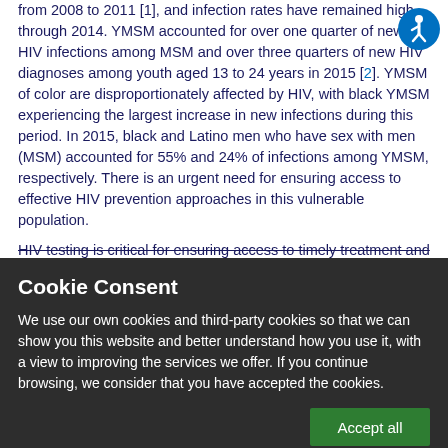from 2008 to 2011 [1], and infection rates have remained high through 2014. YMSM accounted for over one quarter of new HIV infections among MSM and over three quarters of new HIV diagnoses among youth aged 13 to 24 years in 2015 [2]. YMSM of color are disproportionately affected by HIV, with black YMSM experiencing the largest increase in new infections during this period. In 2015, black and Latino men who have sex with men (MSM) accounted for 55% and 24% of infections among YMSM, respectively. There is an urgent need for ensuring access to effective HIV prevention approaches in this vulnerable population.
HIV testing is critical for ensuring access to timely treatment and
[Figure (other): Accessibility icon - circular blue button with white wheelchair/person symbol]
Cookie Consent
We use our own cookies and third-party cookies so that we can show you this website and better understand how you use it, with a view to improving the services we offer. If you continue browsing, we consider that you have accepted the cookies.